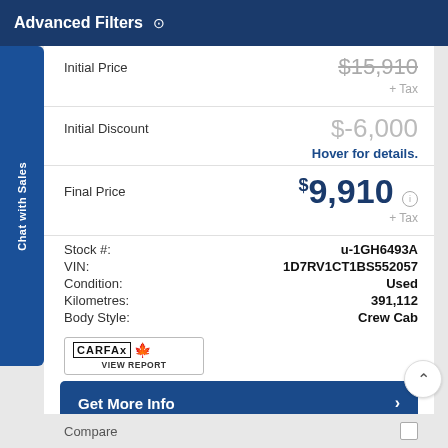Advanced Filters
Initial Price $15,910 + Tax
Initial Discount $-6,000 Hover for details.
Final Price $9,910 + Tax
| Stock #: | u-1GH6493A |
| VIN: | 1D7RV1CT1BS552057 |
| Condition: | Used |
| Kilometres: | 391,112 |
| Body Style: | Crew Cab |
[Figure (logo): CARFAX Canada logo with VIEW REPORT button]
Get More Info
View Details
Compare